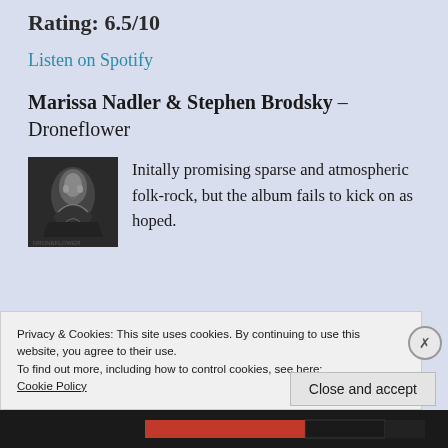Rating: 6.5/10
Listen on Spotify
Marissa Nadler & Stephen Brodsky – Droneflower
[Figure (photo): Black and white album cover artwork for Droneflower by Marissa Nadler & Stephen Brodsky, showing a dark abstract figure]
Initally promising sparse and atmospheric folk-rock, but the album fails to kick on as hoped.
Privacy & Cookies: This site uses cookies. By continuing to use this website, you agree to their use.
To find out more, including how to control cookies, see here:
Cookie Policy
Close and accept